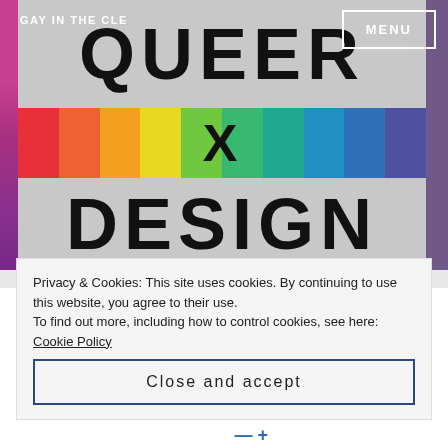GAY IN THE CLE
MENU
[Figure (photo): Book cover or signage showing 'QUEER X DESIGN' in bold black letters on gray panels, with rainbow stripes (red, orange, yellow, green, teal, blue) in the middle band, and purple/magenta strips on the sides.]
Privacy & Cookies: This site uses cookies. By continuing to use this website, you agree to their use.
To find out more, including how to control cookies, see here: Cookie Policy
Close and accept